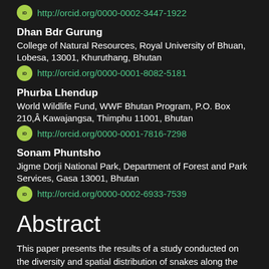http://orcid.org/0000-0002-3447-1922
Dhan Bdr Gurung
College of Natural Resources, Royal University of Bhuan, Lobesa, 13001, Khuruthang, Bhutan
http://orcid.org/0000-0001-8082-5181
Phurba Lhendup
World Wildlife Fund, WWF Bhutan Program, P.O. Box 210,Â Kawajangsa, Thimphu 11001, Bhutan
http://orcid.org/0000-0001-7816-7298
Sonam Phuntsho
Jigme Dorji National Park, Department of Forest and Park Services, Gasa 13001, Bhutan
http://orcid.org/0000-0002-6933-7539
Abstract
This paper presents the results of a study conducted on the diversity and spatial distribution of snakes along the elevation gradients of Mochu River valley in Jigme Dorji